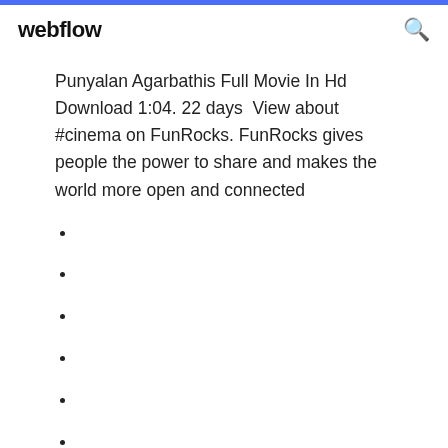webflow
Punyalan Agarbathis Full Movie In Hd Download 1:04. 22 days  View about #cinema on FunRocks. FunRocks gives people the power to share and makes the world more open and connected
569
1264